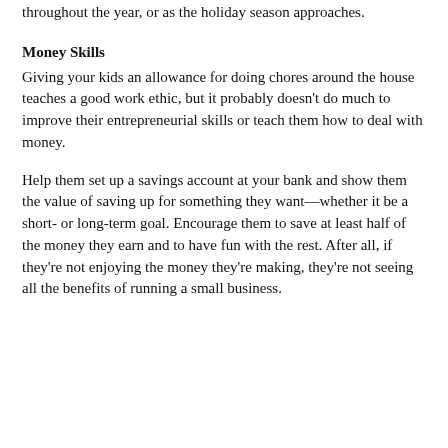throughout the year, or as the holiday season approaches.
Money Skills
Giving your kids an allowance for doing chores around the house teaches a good work ethic, but it probably doesn't do much to improve their entrepreneurial skills or teach them how to deal with money.
Help them set up a savings account at your bank and show them the value of saving up for something they want—whether it be a short- or long-term goal. Encourage them to save at least half of the money they earn and to have fun with the rest. After all, if they're not enjoying the money they're making, they're not seeing all the benefits of running a small business.